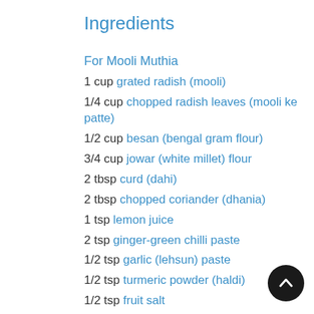Ingredients
For Mooli Muthia
1 cup grated radish (mooli)
1/4 cup chopped radish leaves (mooli ke patte)
1/2 cup besan (bengal gram flour)
3/4 cup jowar (white millet) flour
2 tbsp curd (dahi)
2 tbsp chopped coriander (dhania)
1 tsp lemon juice
2 tsp ginger-green chilli paste
1/2 tsp garlic (lehsun) paste
1/2 tsp turmeric powder (haldi)
1/2 tsp fruit salt